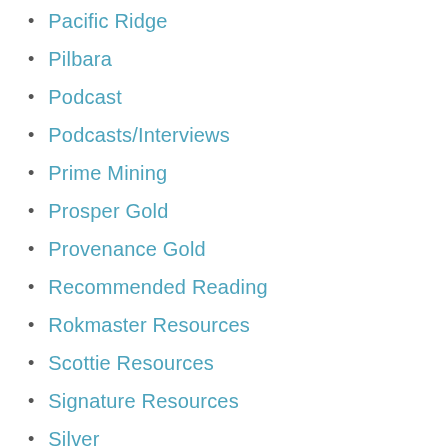Pacific Ridge
Pilbara
Podcast
Podcasts/Interviews
Prime Mining
Prosper Gold
Provenance Gold
Recommended Reading
Rokmaster Resources
Scottie Resources
Signature Resources
Silver
Silver & Guld
Snowline
Solis Minerals
State of The World
Stock Reports
StrikePoint Gold
The Assay
The Economic Depression